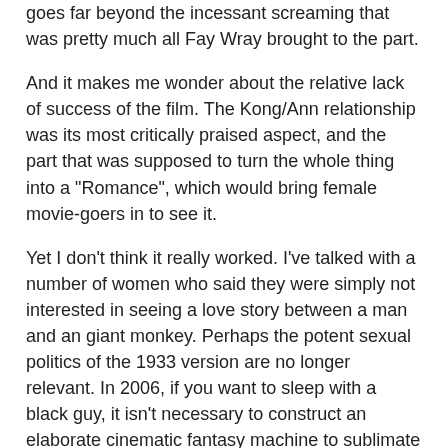goes far beyond the incessant screaming that was pretty much all Fay Wray brought to the part.
And it makes me wonder about the relative lack of success of the film. The Kong/Ann relationship was its most critically praised aspect, and the part that was supposed to turn the whole thing into a "Romance", which would bring female movie-goers in to see it.
Yet I don't think it really worked. I've talked with a number of women who said they were simply not interested in seeing a love story between a man and an giant monkey. Perhaps the potent sexual politics of the 1933 version are no longer relevant. In 2006, if you want to sleep with a black guy, it isn't necessary to construct an elaborate cinematic fantasy machine to sublimate your dangerous longings. You just go ahead and sleep with a black guy.
4) The Special Effects were iffy in places, or maybe I'm just getting bored with CGI. The dinosaurs were especially disappointing. There was a lot of talk on the Dinosaur Mailing List of how Jackson's team got it all wrong.